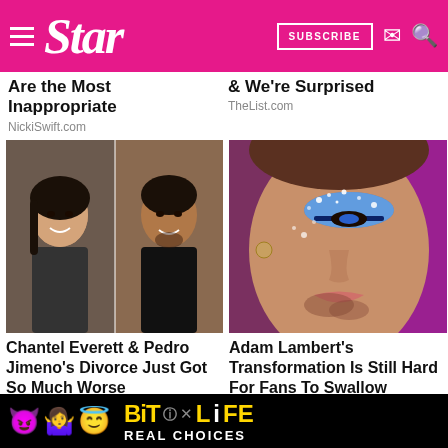Star — SUBSCRIBE
Are the Most Inappropriate
NickiSwift.com
& We're Surprised
TheList.com
[Figure (photo): Photo of Chantel Everett and Pedro Jimeno side by side, smiling headshots]
Chantel Everett & Pedro Jimeno's Divorce Just Got So Much Worse
Theovertimer.com
[Figure (photo): Close-up photo of Adam Lambert wearing blue glittery eye makeup]
Adam Lambert's Transformation Is Still Hard For Fans To Swallow
[Figure (infographic): BitLife advertisement banner with emoji characters and 'REAL CHOICES' text]